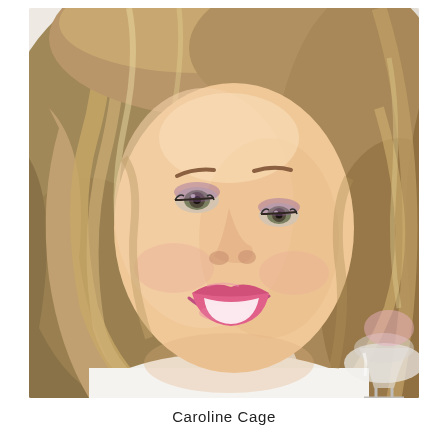[Figure (photo): Close-up portrait photo of a smiling woman with wavy blonde hair, wearing pink lipstick and purple eye makeup, holding what appears to be a glass in the lower right corner. The background is light/white.]
Caroline Cage